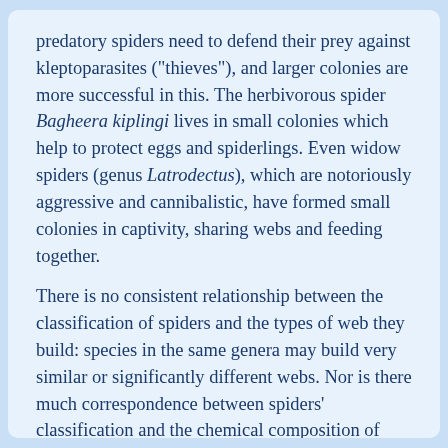predatory spiders need to defend their prey against kleptoparasites ("thieves"), and larger colonies are more successful in this. The herbivorous spider Bagheera kiplingi lives in small colonies which help to protect eggs and spiderlings. Even widow spiders (genus Latrodectus), which are notoriously aggressive and cannibalistic, have formed small colonies in captivity, sharing webs and feeding together.
There is no consistent relationship between the classification of spiders and the types of web they build: species in the same genera may build very similar or significantly different webs. Nor is there much correspondence between spiders' classification and the chemical composition of their silks. Convergent evolution in web construction, in other words use of similar techniques by remotely related species, is rampant. Non-orb web designs and the